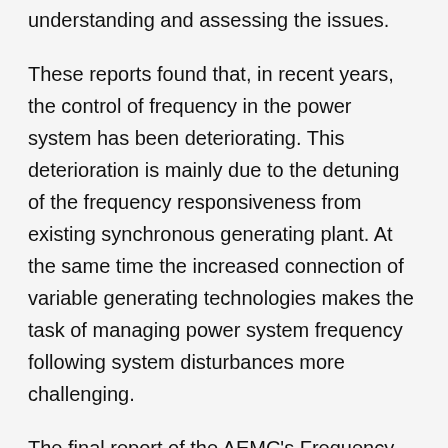understanding and assessing the issues.
These reports found that, in recent years, the control of frequency in the power system has been deteriorating. This deterioration is mainly due to the detuning of the frequency responsiveness from existing synchronous generating plant. At the same time the increased connection of variable generating technologies makes the task of managing power system frequency following system disturbances more challenging.
The final report of the AEMC's Frequency control frameworks review highlighted several issues with the existing market and regulatory arrangements for frequency control, and included a collaborative work plan that set out a series of actions that would be progressed by the AEMC, AEMO and the AER to address issues related to frequency control in the national electricity market over the short, medium and long term.